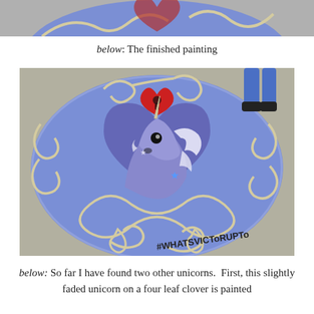[Figure (photo): Top portion of a colorful circular street painting visible at the top of the page, cropped.]
below: The finished painting
[Figure (photo): A circular street/chalk painting on pavement showing a unicorn head inside a large blue-purple heart, surrounded by swirling Celtic-style patterns on a blue background. A red heart with a keyhole sits at the top. A person's legs in jeans and sneakers visible in upper right. Hashtag #WHATSVICTOR UPTo painted at bottom.]
below: So far I have found two other unicorns.  First, this slightly faded unicorn on a four leaf clover is painted